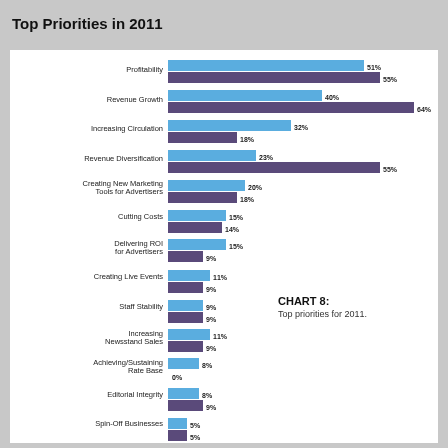Top Priorities in 2011
[Figure (grouped-bar-chart): Top Priorities in 2011]
CHART 8: Top priorities for 2011.